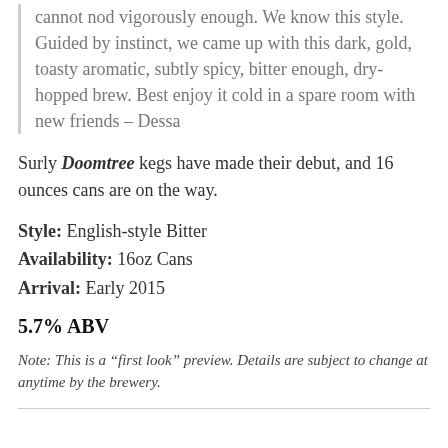cannot nod vigorously enough. We know this style. Guided by instinct, we came up with this dark, gold, toasty aromatic, subtly spicy, bitter enough, dry-hopped brew. Best enjoy it cold in a spare room with new friends – Dessa
Surly Doomtree kegs have made their debut, and 16 ounces cans are on the way.
Style: English-style Bitter
Availability: 16oz Cans
Arrival: Early 2015
5.7% ABV
Note: This is a “first look” preview. Details are subject to change at anytime by the brewery.